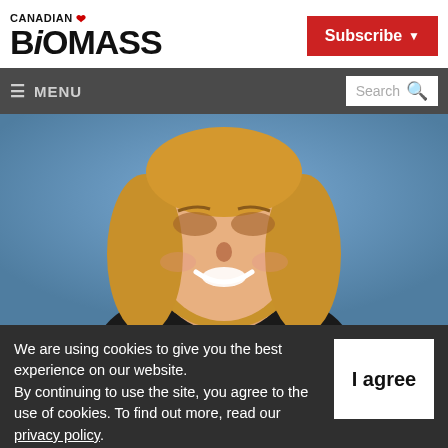CANADIAN BIOMASS
Subscribe
≡ MENU  Search
[Figure (photo): Headshot of a smiling young woman with long blonde hair against a blue background]
We are using cookies to give you the best experience on our website. By continuing to use the site, you agree to the use of cookies. To find out more, read our privacy policy.
I agree